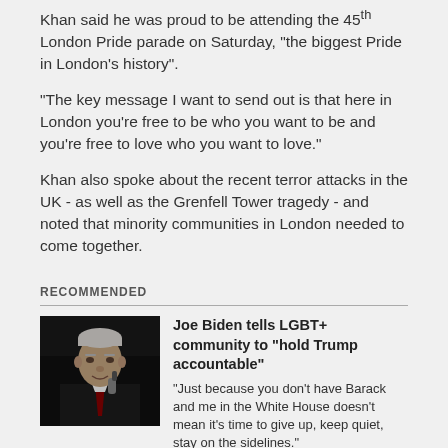Khan said he was proud to be attending the 45 London Pride parade on Saturday, “the biggest Pride in London’s history”.
“The key message I want to send out is that here in London you’re free to be who you want to be and you’re free to love who you want to love.”
Khan also spoke about the recent terror attacks in the UK - as well as the Grenfell Tower tragedy - and noted that minority communities in London needed to come together.
RECOMMENDED
[Figure (photo): Black and white photo of Joe Biden speaking at a podium, wearing a dark suit with red tie]
Joe Biden tells LGBT+ community to “hold Trump accountable” “Just because you don’t have Barack and me in the White House doesn’t mean it’s time to give up, keep quiet, stay on the sidelines.”